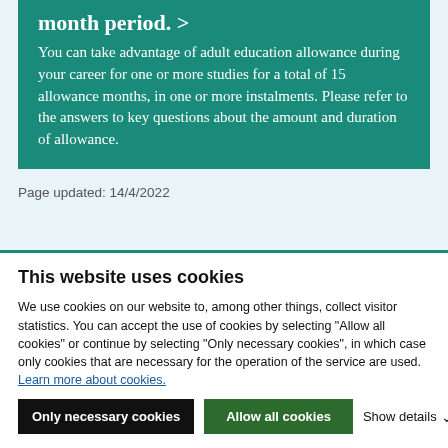month period. >
You can take advantage of adult education allowance during your career for one or more studies for a total of 15 allowance months, in one or more instalments. Please refer to the answers to key questions about the amount and duration of allowance.
Page updated: 14/4/2022
This website uses cookies
We use cookies on our website to, among other things, collect visitor statistics. You can accept the use of cookies by selecting "Allow all cookies" or continue by selecting "Only necessary cookies", in which case only cookies that are necessary for the operation of the service are used. Learn more about cookies.